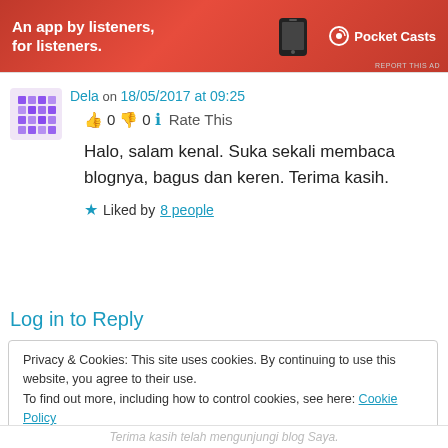[Figure (photo): Red advertisement banner for Pocket Casts: 'An app by listeners, for listeners.' with a phone image and Pocket Casts logo on the right. 'REPORT THIS AD' text in bottom right.]
Dela on 18/05/2017 at 09:25
👍 0 👎 0 ℹ Rate This
Halo, salam kenal. Suka sekali membaca blognya, bagus dan keren. Terima kasih.
★ Liked by 8 people
Log in to Reply
Privacy & Cookies: This site uses cookies. By continuing to use this website, you agree to their use.
To find out more, including how to control cookies, see here: Cookie Policy
Close and accept
Terima kasih telah mengunjungi blog Saya.